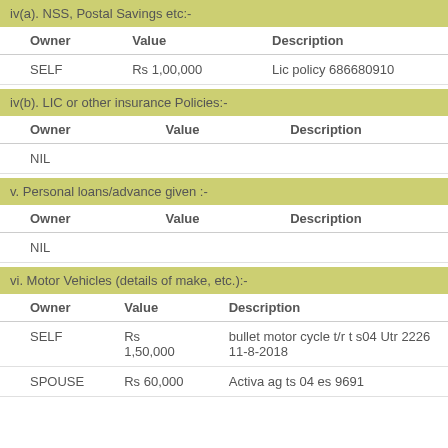iv(a). NSS, Postal Savings etc:-
| Owner | Value | Description |
| --- | --- | --- |
| SELF | Rs 1,00,000 | Lic policy 686680910 |
iv(b). LIC or other insurance Policies:-
| Owner | Value | Description |
| --- | --- | --- |
| NIL |  |  |
v. Personal loans/advance given :-
| Owner | Value | Description |
| --- | --- | --- |
| NIL |  |  |
vi. Motor Vehicles (details of make, etc.):-
| Owner | Value | Description |
| --- | --- | --- |
| SELF | Rs 1,50,000 | bullet motor cycle t/r t s04 Utr 2226 11-8-2018 |
| SPOUSE | Rs 60,000 | Activa ag ts 04 es 9691 |